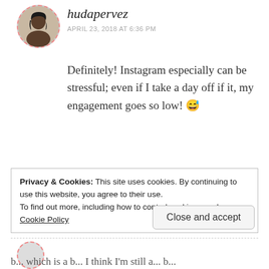[Figure (photo): Circular avatar photo of user hudapervez, outlined with dashed red/pink border]
hudapervez
APRIL 23, 2018 AT 6:36 PM
Definitely! Instagram especially can be stressful; even if I take a day off if it, my engagement goes so low! 😅
★ Liked by 1 person
Reply
Privacy & Cookies: This site uses cookies. By continuing to use this website, you agree to their use.
To find out more, including how to control cookies, see here:
Cookie Policy
Close and accept
b... which is a b... I think I'm still a... b...